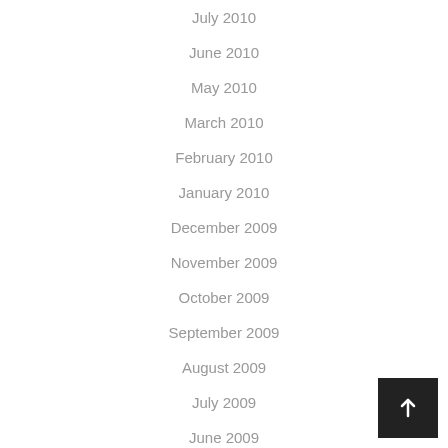July 2010
June 2010
May 2010
March 2010
February 2010
January 2010
December 2009
November 2009
October 2009
September 2009
August 2009
July 2009
June 2009